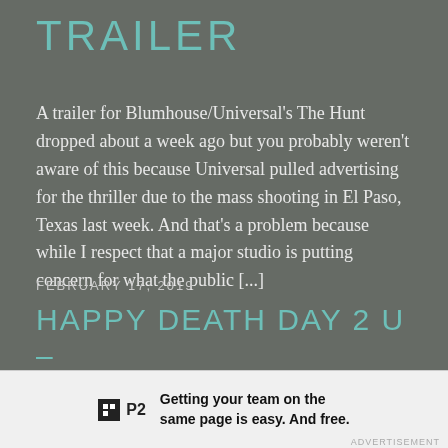TRAILER
A trailer for Blumhouse/Universal's The Hunt dropped about a week ago but you probably weren't aware of this because Universal pulled advertising for the thriller due to the mass shooting in El Paso, Texas last week. And that's a problem because while I respect that a major studio is putting concern for what the public [...]
FEBRUARY 17, 2019
HAPPY DEATH DAY 2 U – REVIEW
[Figure (other): Advertisement banner for P2 app: logo with P2 text, headline 'Getting your team on the same page is easy. And free.']